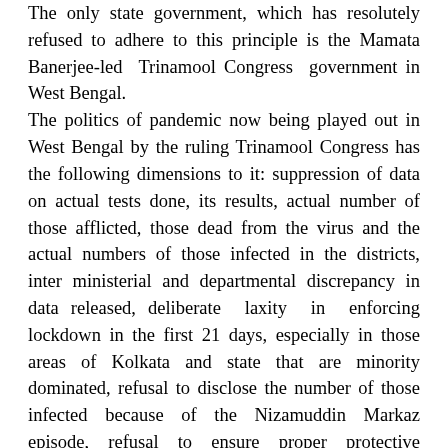The only state government, which has resolutely refused to adhere to this principle is the Mamata Banerjee-led Trinamool Congress government in West Bengal. The politics of pandemic now being played out in West Bengal by the ruling Trinamool Congress has the following dimensions to it: suppression of data on actual tests done, its results, actual number of those afflicted, those dead from the virus and the actual numbers of those infected in the districts, inter ministerial and departmental discrepancy in data released, deliberate laxity in enforcing lockdown in the first 21 days, especially in those areas of Kolkata and state that are minority dominated, refusal to disclose the number of those infected because of the Nizamuddin Markaz episode, refusal to ensure proper protective equipment for doctors and healthcare workers at the frontline. Such a callous attitude has led to patients being admitted to general wards and ...